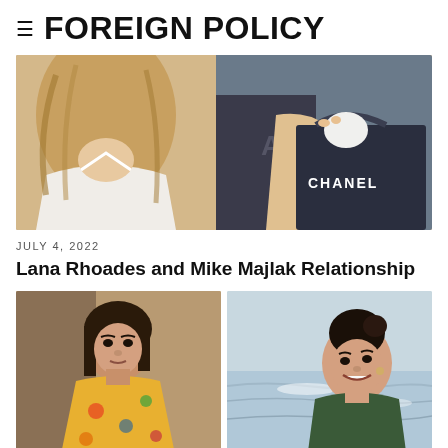≡ FOREIGN POLICY
[Figure (photo): Two people, one in white halter top with long wavy hair, one holding a navy Chanel shopping bag]
JULY 4, 2022
Lana Rhoades and Mike Majlak Relationship
[Figure (photo): Left: A woman with dark hair wearing a yellow floral outfit. Right: A woman with dark hair in a bun smiling at the beach in a green top.]